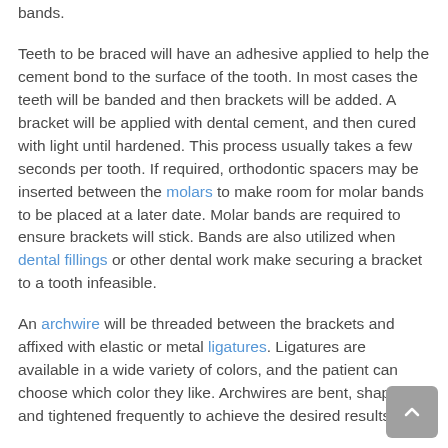bands.
Teeth to be braced will have an adhesive applied to help the cement bond to the surface of the tooth. In most cases the teeth will be banded and then brackets will be added. A bracket will be applied with dental cement, and then cured with light until hardened. This process usually takes a few seconds per tooth. If required, orthodontic spacers may be inserted between the molars to make room for molar bands to be placed at a later date. Molar bands are required to ensure brackets will stick. Bands are also utilized when dental fillings or other dental work make securing a bracket to a tooth infeasible.
An archwire will be threaded between the brackets and affixed with elastic or metal ligatures. Ligatures are available in a wide variety of colors, and the patient can choose which color they like. Archwires are bent, shaped, and tightened frequently to achieve the desired results.